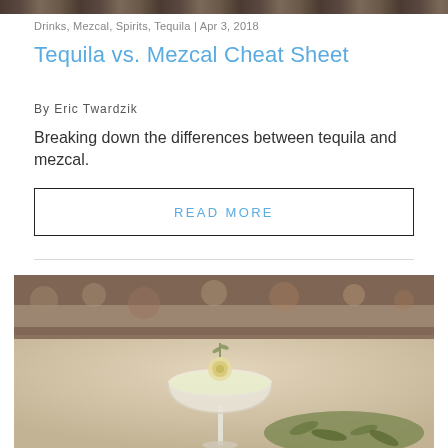[Figure (photo): Cropped top portion of a photo showing agave or outdoor landscape, partial strip]
Drinks, Mezcal, Spirits, Tequila | Apr 3, 2018
Tequila vs. Mezcal Cheat Sheet
By Eric Twardzik
Breaking down the differences between tequila and mezcal.
READ MORE
[Figure (photo): A cocktail in a coupe glass garnished with a flower/herb, sitting on a plate with herbs, blurred bar background]